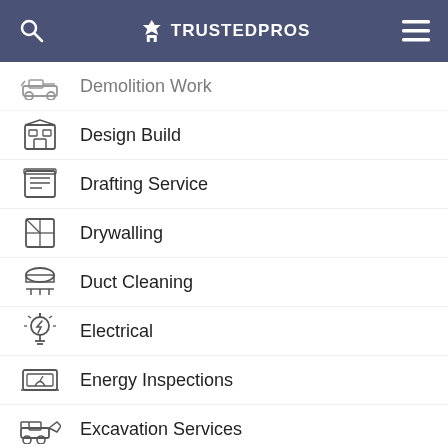TRUSTEDPROS
Demolition Work
Design Build
Drafting Service
Drywalling
Duct Cleaning
Electrical
Energy Inspections
Excavation Services
Fencing